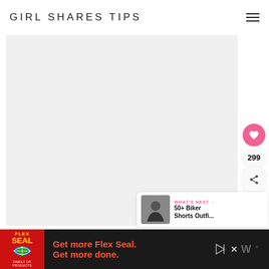GIRL SHARES TIPS
[Figure (screenshot): Main content image area - large light gray placeholder image representing a fashion/lifestyle blog post image]
[Figure (infographic): Social interaction sidebar with pink heart/like button showing 299 likes, and a share button]
[Figure (photo): What's Next recommendation panel showing a thumbnail of a person in black outfit with text '50+ Biker Shorts Outfi...']
[Figure (screenshot): Advertisement bar at bottom: Flex Seal ad saying 'Get more Flex Seal. Get more done.' with red Flex Seal logo on left and media controls on right]